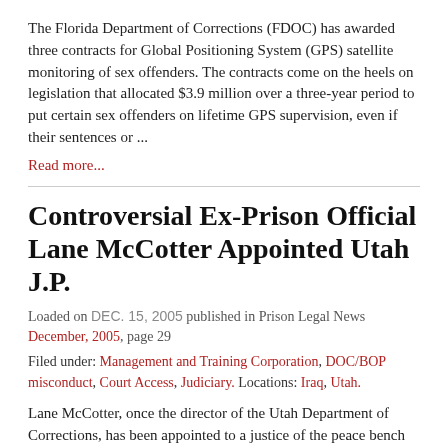The Florida Department of Corrections (FDOC) has awarded three contracts for Global Positioning System (GPS) satellite monitoring of sex offenders. The contracts come on the heels on legislation that allocated $3.9 million over a three-year period to put certain sex offenders on lifetime GPS supervision, even if their sentences or ...
Read more...
Controversial Ex-Prison Official Lane McCotter Appointed Utah J.P.
Loaded on DEC. 15, 2005 published in Prison Legal News December, 2005, page 29
Filed under: Management and Training Corporation, DOC/BOP misconduct, Court Access, Judiciary. Locations: Iraq, Utah.
Lane McCotter, once the director of the Utah Department of Corrections, has been appointed to a justice of the peace bench in Utah. The McCotter era remains a high-point of prison violence in Utah's history cumulating in the death of a prisoner who had spent 16 hours strapped naked to ...
Read more...